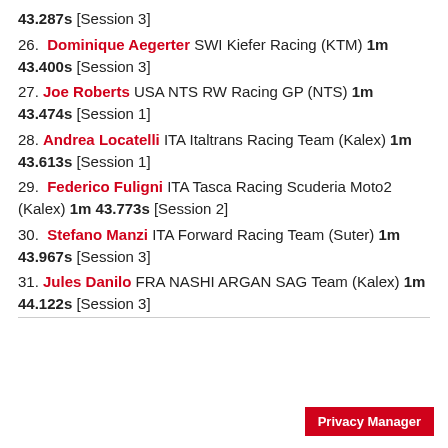43.287s [Session 3]
26. Dominique Aegerter SWI Kiefer Racing (KTM) 1m 43.400s [Session 3]
27. Joe Roberts USA NTS RW Racing GP (NTS) 1m 43.474s [Session 1]
28. Andrea Locatelli ITA Italtrans Racing Team (Kalex) 1m 43.613s [Session 1]
29. Federico Fuligni ITA Tasca Racing Scuderia Moto2 (Kalex) 1m 43.773s [Session 2]
30. Stefano Manzi ITA Forward Racing Team (Suter) 1m 43.967s [Session 3]
31. Jules Danilo FRA NASHI ARGAN SAG Team (Kalex) 1m 44.122s [Session 3]